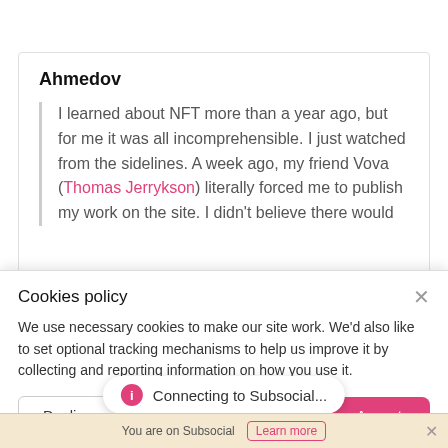Ahmedov
I learned about NFT more than a year ago, but for me it was all incomprehensible. I just watched from the sidelines. A week ago, my friend Vova (Thomas Jerrykson) literally forced me to publish my work on the site. I didn't believe there would
Cookies policy
We use necessary cookies to make our site work. We'd also like to set optional tracking mechanisms to help us improve it by collecting and reporting information on how you use it.
Decline
Accept
Connecting to Subsocial...
You are on Subsocial
Learn more